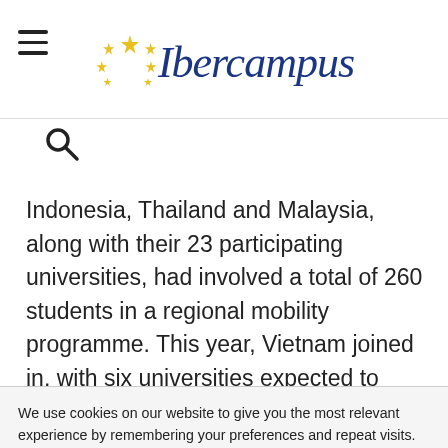Ibercampus
[Figure (logo): Ibercampus logo with stars and italic blue text]
Indonesia, Thailand and Malaysia, along with their 23 participating universities, had involved a total of 260 students in a regional mobility programme. This year, Vietnam joined in, with six universities expected to participate.
We use cookies on our website to give you the most relevant experience by remembering your preferences and repeat visits. By clicking "Accept All", you consent to the use of ALL the cookies. However, you may visit "Cookie Settings" to provide a controlled consent.